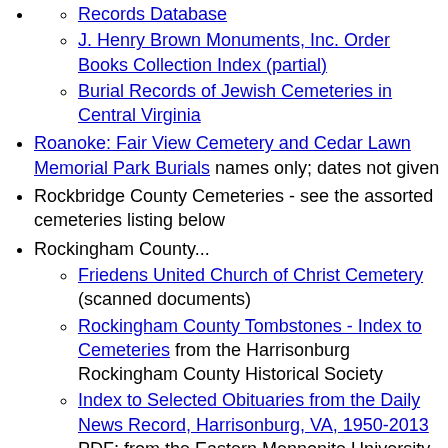Records Database
J. Henry Brown Monuments, Inc. Order Books Collection Index (partial)
Burial Records of Jewish Cemeteries in Central Virginia
Roanoke: Fair View Cemetery and Cedar Lawn Memorial Park Burials names only; dates not given
Rockbridge County Cemeteries - see the assorted cemeteries listing below
Rockingham County...
Friedens United Church of Christ Cemetery (scanned documents)
Rockingham County Tombstones - Index to Cemeteries from the Harrisonburg Rockingham County Historical Society
Index to Selected Obituaries from the Daily News Record, Harrisonburg, VA, 1950-2013 PDF; from the Eastern Mennonite University Library
Russell County Death Index 1853-1896 and 1912-1929 (some years missing)
Shenandoah County Cemetery Inscriptions
Southampton County Genealogy Indexes incudes Will Books 1749-1881, Death Records